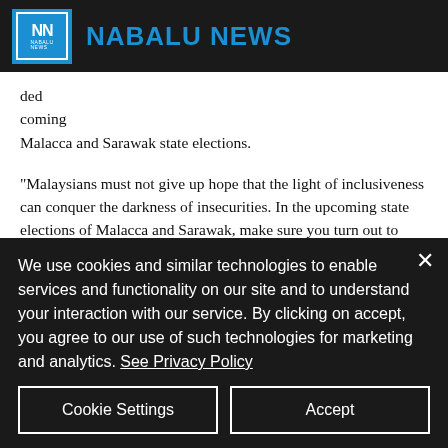NABALU NEWS
ded coming Malacca and Sarawak state elections.
“Malaysians must not give up hope that the light of inclusiveness can conquer the darkness of insecurities. In the upcoming state elections of Malacca and Sarawak, make sure you turn out to vote and use your vote to reject any candidates and parties who deliberately exploit the politics of insecurities.
“Choose only amongst those who respect each other’s belief and sensitivity, as expressed in the
We use cookies and similar technologies to enable services and functionality on our site and to understand your interaction with our service. By clicking on accept, you agree to our use of such technologies for marketing and analytics. See Privacy Policy